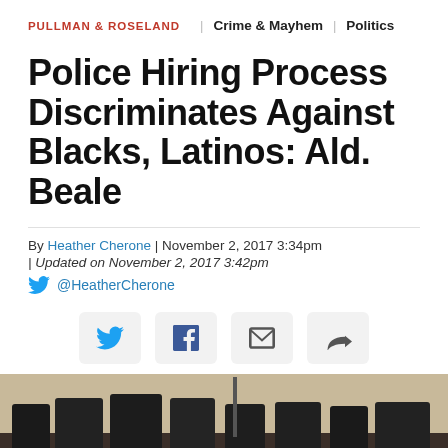PULLMAN & ROSELAND   Crime & Mayhem   Politics
Police Hiring Process Discriminates Against Blacks, Latinos: Ald. Beale
By Heather Cherone | November 2, 2017 3:34pm
| Updated on November 2, 2017 3:42pm
@HeatherCherone
[Figure (photo): Meeting room scene showing people seated at a council or committee table, photographed from an angle showing multiple attendees in a formal setting.]